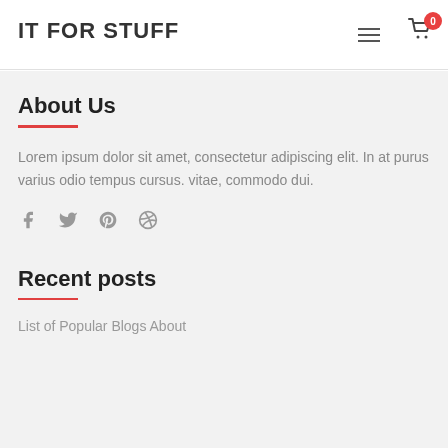IT FOR STUFF
About Us
Lorem ipsum dolor sit amet, consectetur adipiscing elit. In at purus varius odio tempus cursus. vitae, commodo dui.
[Figure (other): Social media icons: Facebook, Twitter, Pinterest, Dribbble]
Recent posts
List of Popular Blogs About